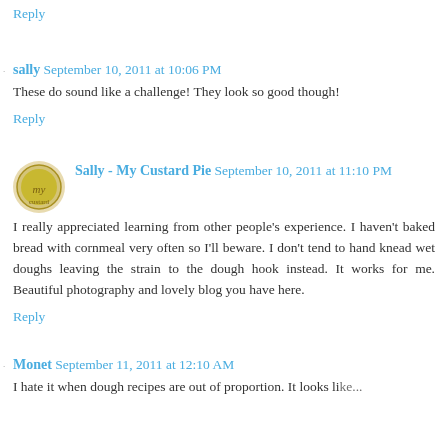Reply
sally  September 10, 2011 at 10:06 PM
These do sound like a challenge! They look so good though!
Reply
Sally - My Custard Pie  September 10, 2011 at 11:10 PM
I really appreciated learning from other people's experience. I haven't baked bread with cornmeal very often so I'll beware. I don't tend to hand knead wet doughs leaving the strain to the dough hook instead. It works for me. Beautiful photography and lovely blog you have here.
Reply
Monet  September 11, 2011 at 12:10 AM
I hate it when dough recipes are out of proportion. It looks like...